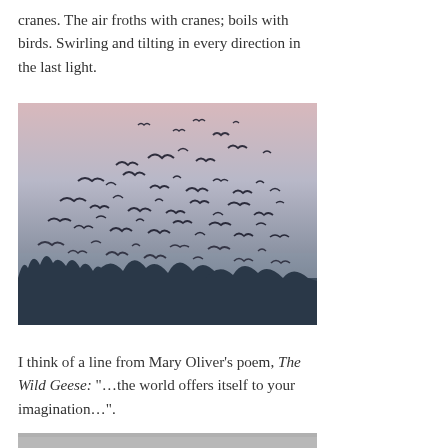cranes. The air froths with cranes; boils with birds. Swirling and tilting in every direction in the last light.
[Figure (photo): A large flock of cranes or birds in flight against a pale pink and grey twilight sky, with bare winter trees silhouetted along the bottom horizon.]
I think of a line from Mary Oliver's poem, The Wild Geese: “…the world offers itself to your imagination…”.
[Figure (photo): Partial view of another image at the bottom of the page, appears grey/silver in color.]